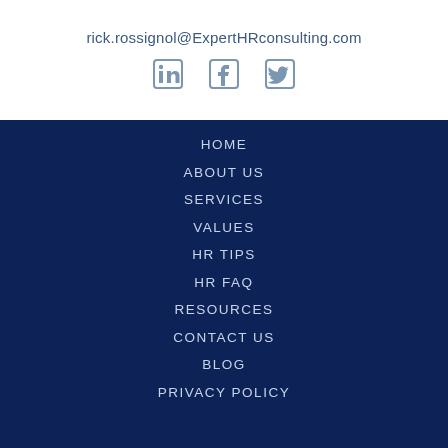rick.rossignol@ExpertHRconsulting.com
[Figure (other): Three social media icons: LinkedIn, Facebook, Twitter, rendered in muted steel blue on white background]
HOME
ABOUT US
SERVICES
VALUES
HR TIPS
HR FAQ
RESOURCES
CONTACT US
BLOG
PRIVACY POLICY